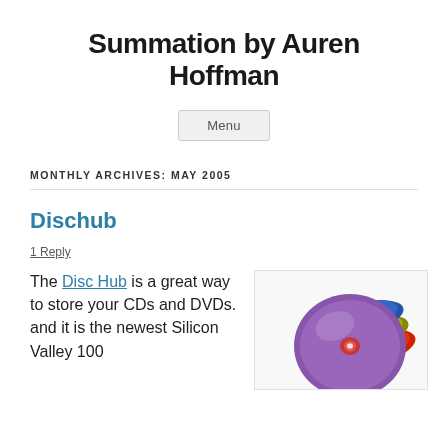Summation by Auren Hoffman
Menu
MONTHLY ARCHIVES: MAY 2005
Dischub
1 Reply
The Disc Hub is a great way to store your CDs and DVDs. and it is the newest Silicon Valley 100
[Figure (photo): A stack of colorful CDs and DVDs in purple, blue, green, and red colors arranged in a disc hub holder]